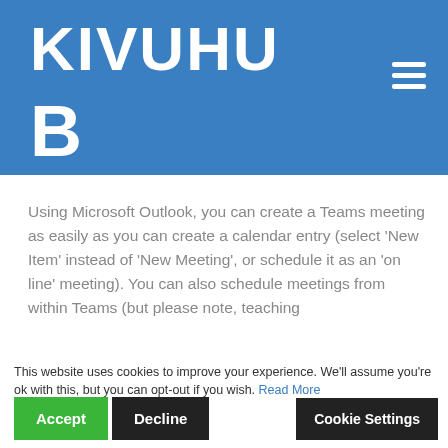KIVUHU B
Using Microsoft Outlook, you can create a Teams meeting as easily as you can create a calendar entry (select ‘New Item’ instead of ‘New Meeting’, or schedule it as an ‘on line’ meeting).  You can also schedule meetings from within Teams (but please note, teaching
This website uses cookies to improve your experience. We'll assume you're ok with this, but you can opt-out if you wish. Read More
uled by the Timetabling and Events Assistant, so seminar leaders do not need to
s). You do not need
‘Teams’ or ‘Channels’ in order to set up meetings, but you